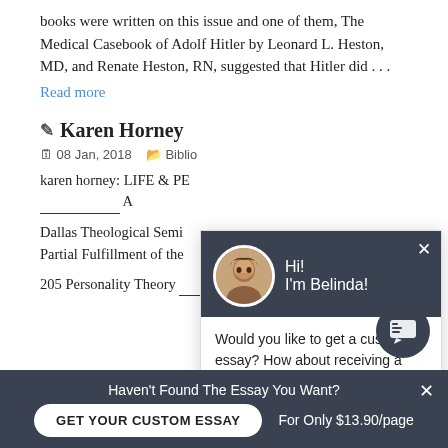books were written on this issue and one of them, The Medical Casebook of Adolf Hitler by Leonard L. Heston, MD, and Renate Heston, RN, suggested that Hitler did . . .
Read more
Karen Horney
08 Jan, 2018   Biblio
karen horney: LIFE & PE
Dallas Theological Semi
Partial Fulfillment of the
205 Personality Theory _____________________ by A
[Figure (screenshot): Chat popup overlay with avatar of Belinda, greeting 'Hi! I'm Belinda!', message 'Would you like to get a custom essay? How about receiving a customized one?', and a 'Check it out' link. Dark header background #3a4150.]
Haven't Found The Essay You Want?
GET YOUR CUSTOM ESSAY
For Only $13.90/page